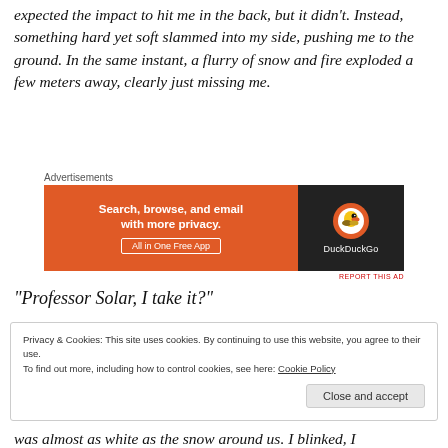expected the impact to hit me in the back, but it didn't. Instead, something hard yet soft slammed into my side, pushing me to the ground. In the same instant, a flurry of snow and fire exploded a few meters away, clearly just missing me.
[Figure (other): DuckDuckGo advertisement banner: orange left side with text 'Search, browse, and email with more privacy. All in One Free App' and dark right side with DuckDuckGo duck logo]
“Professor Solar, I take it?”
Privacy & Cookies: This site uses cookies. By continuing to use this website, you agree to their use.
To find out more, including how to control cookies, see here: Cookie Policy
Close and accept
was almost as white as the snow around us. I blinked, I